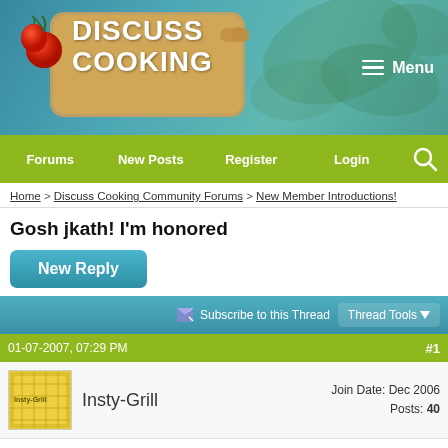[Figure (logo): Discuss Cooking website header with logo on cutting board and tomatoes, teal background with Menu button]
Forums | New Posts | Register | Login | Search
Home > Discuss Cooking Community Forums > New Member Introductions!
Gosh jkath! I'm honored
New Reply
Subscribe to this Thread   Thread Tools
01-07-2007, 07:29 PM   #1
Insty-Grill   Join Date: Dec 2006   Posts: 40
Gosh jkath! I'm honored
jkath so kindly wrote to me...